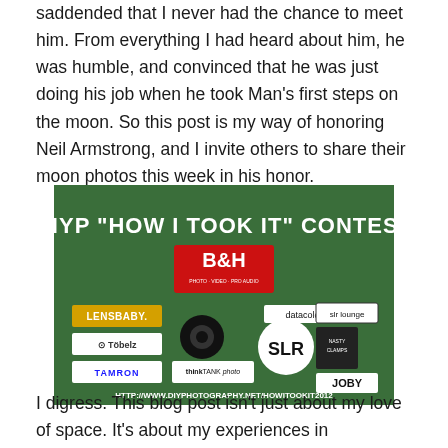saddended that I never had the chance to meet him. From everything I had heard about him, he was humble, and convinced that he was just doing his job when he took Man's first steps on the moon. So this post is my way of honoring Neil Armstrong, and I invite others to share their moon photos this week in his honor.
[Figure (photo): DIYP 'How I Took It' Contest banner with sponsor logos including B&H, Lensbaby, Tobelz, Tamron, Think Tank Photo, Datacolor, SLR, Nasty Clamps, SLR Lounge, Joby. URL: HTTP://WWW.DIYPHOTOGRAPHY.NET/HOWITOOKIT2012]
I digress. This blog post isn't just about my love of space. It's about my experiences in photographing the moon, and